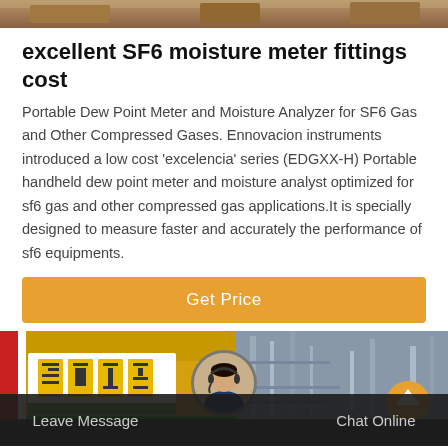[Figure (photo): Partial top photo showing industrial/equipment scene, cropped]
excellent SF6 moisture meter fittings cost
Portable Dew Point Meter and Moisture Analyzer for SF6 Gas and Other Compressed Gases. Ennovacion instruments introduced a low cost 'excelencia' series (EDGXX-H) Portable handheld dew point meter and moisture analyst optimized for sf6 gas and other compressed gas applications.It is specially designed to measure faster and accurately the performance of sf6 equipments.
[Figure (screenshot): Orange 'Get Price' button]
[Figure (photo): Bottom photo showing yellow truck with Japanese/Chinese text signage on left side and industrial pipes/infrastructure on right side. Chat agent avatar and bottom navigation bar with Leave Message and Chat Online options.]